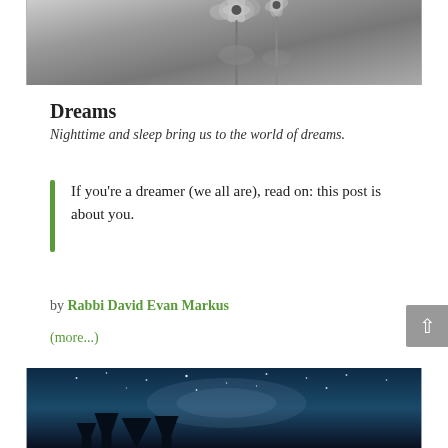[Figure (photo): Black and white photograph of flowers, partially visible at top of page]
Dreams
Nighttime and sleep bring us to the world of dreams.
If you're a dreamer (we all are), read on: this post is about you.
by Rabbi David Evan Markus
(more...)
[Figure (photo): Night sky photograph with stars and Milky Way visible, silhouettes of trees in foreground]